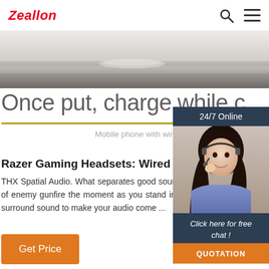Zeallon
[Figure (photo): Hero banner with blurred product image (wireless charger on a desk)]
Once put, charge while c
Mobile phone with wireless charging functi tocable tedious Charging is so sim
[Figure (photo): 24/7 Online customer support agent - woman wearing headset smiling, with Click here for free chat! button and QUOTATION orange button]
Razer Gaming Headsets: Wired Wireless Hea
THX Spatial Audio. What separates good sound fr audio is the ability to transport you right into the it's knowing the precise location of enemy gunfire the moment as you stand in the center of an arena, THX Spatial Audio delivers a performance greater than 7.1 surround sound to make your audio come ...
Get Price